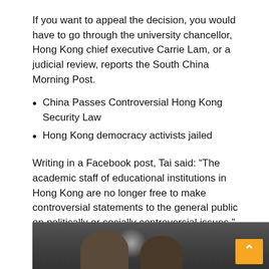If you want to appeal the decision, you would have to go through the university chancellor, Hong Kong chief executive Carrie Lam, or a judicial review, reports the South China Morning Post.
China Passes Controversial Hong Kong Security Law
Hong Kong democracy activists jailed
Writing in a Facebook post, Tai said: “The academic staff of educational institutions in Hong Kong are no longer free to make controversial statements to the general public on politically or socially controversial issues.”
The decision to fire him “was not made by the University of Hong Kong but by an authority beyond the University through its agents,” he said, adding: “I am heartbroken to witness the disappearance of my beloved university.”
[Figure (photo): Photograph showing people, partially visible at the bottom of the page, with a camera or media equipment visible. Orange scroll-to-top button in bottom-right corner.]